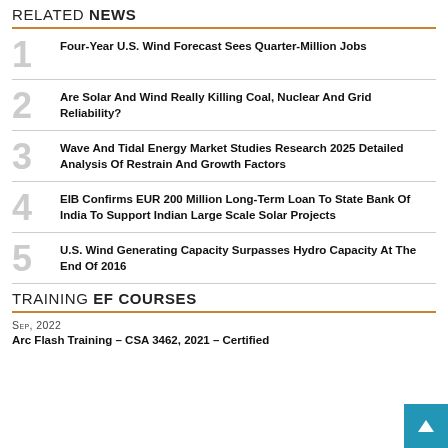RELATED NEWS
1 Four-Year U.S. Wind Forecast Sees Quarter-Million Jobs
2 Are Solar And Wind Really Killing Coal, Nuclear And Grid Reliability?
3 Wave And Tidal Energy Market Studies Research 2025 Detailed Analysis Of Restrain And Growth Factors
4 EIB Confirms EUR 200 Million Long-Term Loan To State Bank Of India To Support Indian Large Scale Solar Projects
5 U.S. Wind Generating Capacity Surpasses Hydro Capacity At The End Of 2016
TRAINING EF COURSES
Sep, 2022
Arc Flash Training – CSA 3462, 2021 – Certified